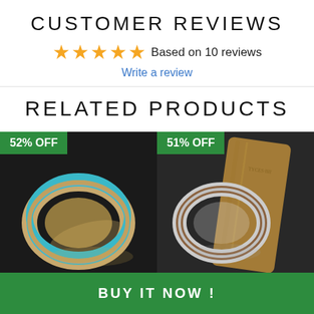CUSTOMER REVIEWS
★★★★★ Based on 10 reviews
Write a review
RELATED PRODUCTS
[Figure (photo): Ring product photo with 52% OFF badge - decorative ring with turquoise and wood inlay on dark background]
[Figure (photo): Ring product photo with 51% OFF badge - silver ring with wood inlay on wooden stand, dark background]
BUY IT NOW !